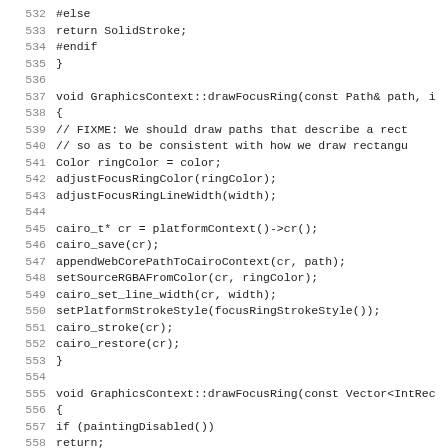Source code listing lines 532-563
532 #else
533     return SolidStroke;
534 #endif
535 }
536
537 void GraphicsContext::drawFocusRing(const Path& path, i
538 {
539     // FIXME: We should draw paths that describe a rect
540     // so as to be consistent with how we draw rectangu
541     Color ringColor = color;
542     adjustFocusRingColor(ringColor);
543     adjustFocusRingLineWidth(width);
544
545     cairo_t* cr = platformContext()->cr();
546     cairo_save(cr);
547     appendWebCorePathToCairoContext(cr, path);
548     setSourceRGBAFromColor(cr, ringColor);
549     cairo_set_line_width(cr, width);
550     setPlatformStrokeStyle(focusRingStrokeStyle());
551     cairo_stroke(cr);
552     cairo_restore(cr);
553 }
554
555 void GraphicsContext::drawFocusRing(const Vector<IntRec
556 {
557     if (paintingDisabled())
558         return;
559
560     unsigned rectCount = rects.size();
561
562     cairo_t* cr = platformContext()->cr();
563     cairo_save(cr);